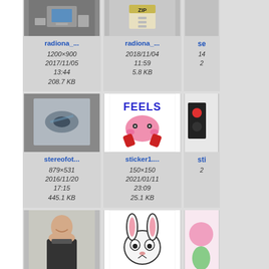[Figure (screenshot): File browser / image gallery grid showing thumbnails with filenames, dimensions, dates, and file sizes. Row 1: radiona_... (1200×900, 2017/11/05 13:44, 208.7 KB), radiona_... (2018/11/04 11:59, 5.8 KB), se... (partially visible). Row 2: stereofot... (879×531, 2016/11/20 17:15, 445.1 KB), sticker1.... (150×150, 2021/01/11 23:09, 25.1 KB), sti... (partially visible). Row 3: person photo (partially visible), cartoon bunny (partially visible), pink figure (partially visible).]